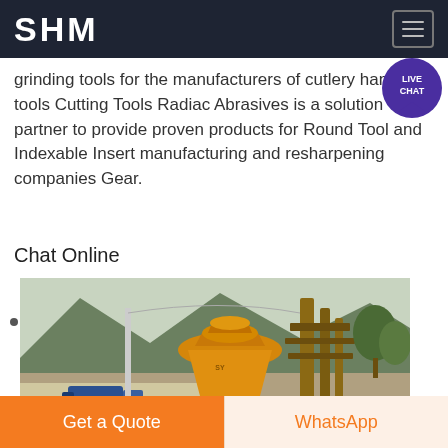SHM
grinding tools for the manufacturers of cutlery hand tools Cutting Tools Radiac Abrasives is a solution partner to provide proven products for Round Tool and Indexable Insert manufacturing and resharpening companies Gear.
Chat Online
[Figure (photo): Yellow cone crusher / mining machine on a hillside construction site with mountains and trees in background]
Get a Quote
WhatsApp